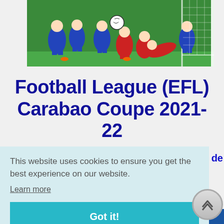[Figure (photo): Football match action photo showing players in blue and red/white kits competing near a goal, with a ball visible in the air]
Football League (EFL) Carabao Coupe 2021-22
This website uses cookies to ensure you get the best experience on our website.
Learn more
Got it!
Coupe de la Ligue de football Les statistiques